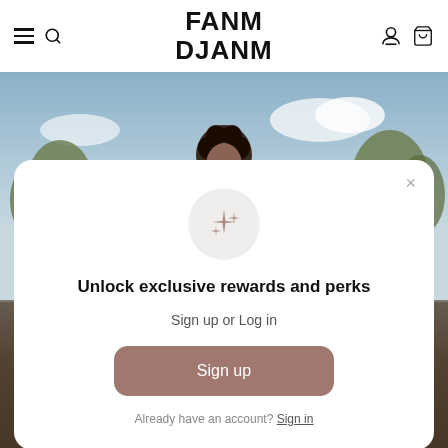[Figure (screenshot): Website screenshot of FANM DJANM fashion brand showing a navigation bar, background photo of a woman outdoors, and a modal popup for rewards sign-up]
FANM DJANM
Unlock exclusive rewards and perks
Sign up or Log in
Sign up
Already have an account? Sign in